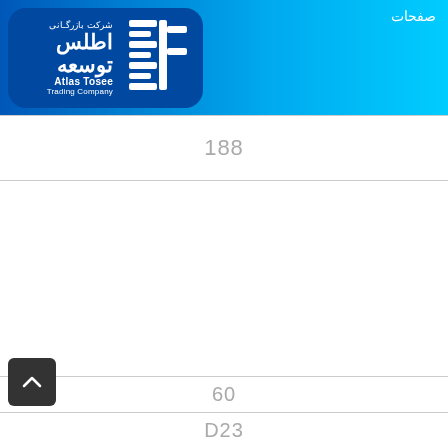صفحات - Atlas Tosee Trading Company / شرکت بازرگانی اطلس توسعه
188
60
D23